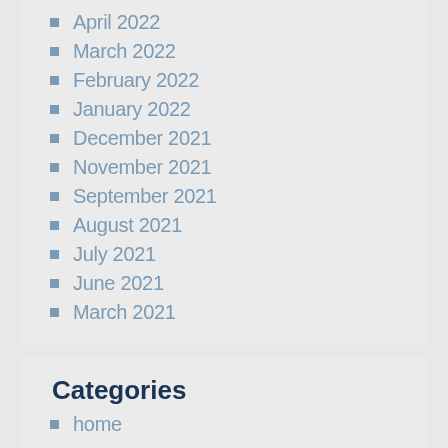April 2022
March 2022
February 2022
January 2022
December 2021
November 2021
September 2021
August 2021
July 2021
June 2021
March 2021
Categories
home